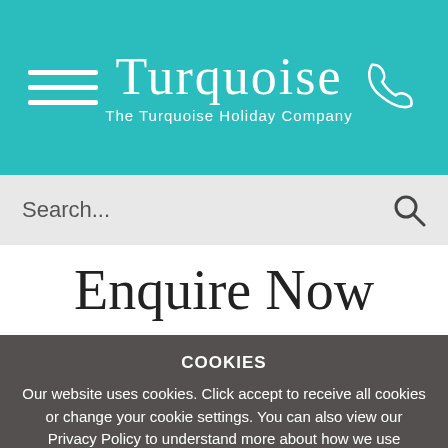Turquoise — The Turquoise Holiday Company
Search...
Enquire Now
COOKIES
Our website uses cookies. Click accept to receive all cookies or change your cookie settings. You can also view our Privacy Policy to understand more about how we use cookies.
Privacy Policy
OK
PRIVACY POLICY